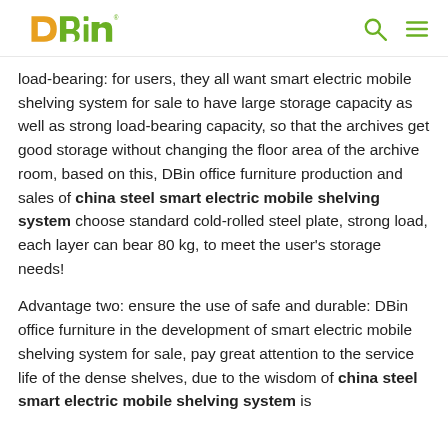DBin
load-bearing: for users, they all want smart electric mobile shelving system for sale to have large storage capacity as well as strong load-bearing capacity, so that the archives get good storage without changing the floor area of the archive room, based on this, DBin office furniture production and sales of china steel smart electric mobile shelving system choose standard cold-rolled steel plate, strong load, each layer can bear 80 kg, to meet the user's storage needs!
Advantage two: ensure the use of safe and durable: DBin office furniture in the development of smart electric mobile shelving system for sale, pay great attention to the service life of the dense shelves, due to the wisdom of china steel smart electric mobile shelving system is